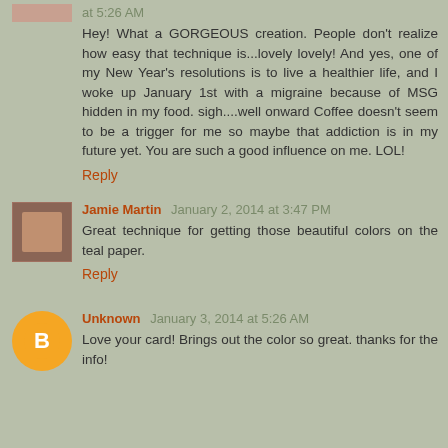at 5:26 AM
Hey! What a GORGEOUS creation. People don't realize how easy that technique is...lovely lovely! And yes, one of my New Year's resolutions is to live a healthier life, and I woke up January 1st with a migraine because of MSG hidden in my food. sigh....well onward Coffee doesn't seem to be a trigger for me so maybe that addiction is in my future yet. You are such a good influence on me. LOL!
Reply
Jamie Martin January 2, 2014 at 3:47 PM
Great technique for getting those beautiful colors on the teal paper.
Reply
Unknown January 3, 2014 at 5:26 AM
Love your card! Brings out the color so great. thanks for the info!